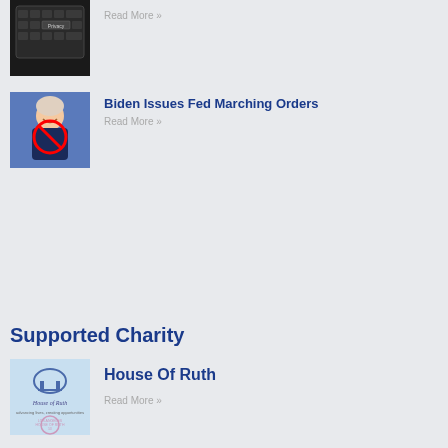[Figure (photo): Keyboard with Privacy key in dark tones]
Read More »
[Figure (photo): Biden at podium smiling, with circular red symbol overlay]
Biden Issues Fed Marching Orders
Read More »
Supported Charity
[Figure (logo): House of Ruth charity logo with Los Angeles House of Ruth branding]
House Of Ruth
Read More »